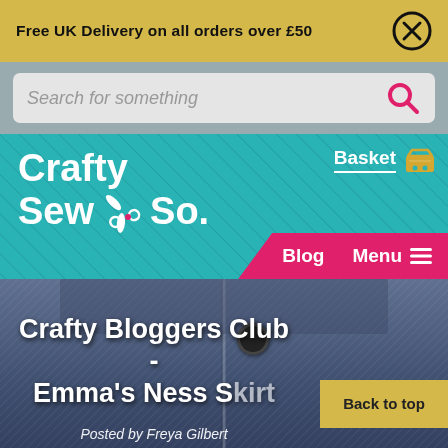Free UK Delivery on all orders over £50
[Figure (screenshot): Search bar with placeholder text 'Search for something' and a pink search icon]
[Figure (logo): Crafty Sew & So. logo in white on teal background with scissors icon, Basket link and basket icon, Blog and Menu navigation links on pink ribbon]
Crafty Bloggers Club - Emma's Ness Skirt
Posted by Freya Gilbert